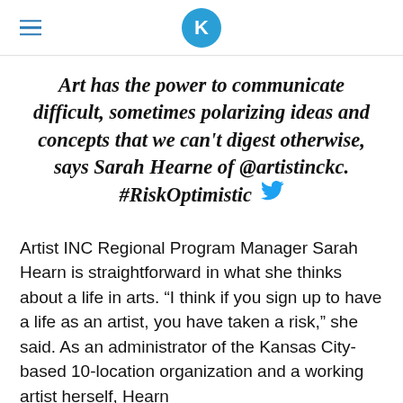K
Art has the power to communicate difficult, sometimes polarizing ideas and concepts that we can't digest otherwise, says Sarah Hearne of @artistinckc. #RiskOptimistic
Artist INC Regional Program Manager Sarah Hearn is straightforward in what she thinks about a life in arts. “I think if you sign up to have a life as an artist, you have taken a risk,” she said. As an administrator of the Kansas City-based 10-location organization and a working artist herself, Hearn